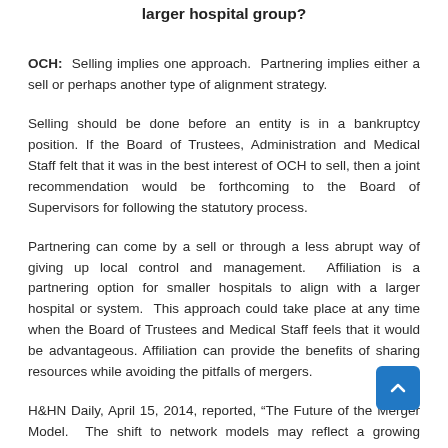larger hospital group?
OCH: Selling implies one approach. Partnering implies either a sell or perhaps another type of alignment strategy.
Selling should be done before an entity is in a bankruptcy position. If the Board of Trustees, Administration and Medical Staff felt that it was in the best interest of OCH to sell, then a joint recommendation would be forthcoming to the Board of Supervisors for following the statutory process.
Partnering can come by a sell or through a less abrupt way of giving up local control and management. Affiliation is a partnering option for smaller hospitals to align with a larger hospital or system. This approach could take place at any time when the Board of Trustees and Medical Staff feels that it would be advantageous. Affiliation can provide the benefits of sharing resources while avoiding the pitfalls of mergers.
H&HN Daily, April 15, 2014, reported, “The Future of the Merger Model. The shift to network models may reflect a growing recognition that mergers often fail to deliver their